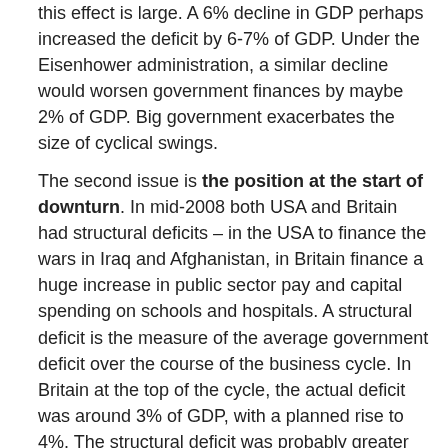this effect is large. A 6% decline in GDP perhaps increased the deficit by 6-7% of GDP. Under the Eisenhower administration, a similar decline would worsen government finances by maybe 2% of GDP. Big government exacerbates the size of cyclical swings.
The second issue is the position at the start of downturn. In mid-2008 both USA and Britain had structural deficits – in the USA to finance the wars in Iraq and Afghanistan, in Britain finance a huge increase in public sector pay and capital spending on schools and hospitals. A structural deficit is the measure of the average government deficit over the course of the business cycle. In Britain at the top of the cycle, the actual deficit was around 3% of GDP, with a planned rise to 4%. The structural deficit was probably greater than 4% of GDP in mid-2008 in Britain and maybe slightly smaller in the USA